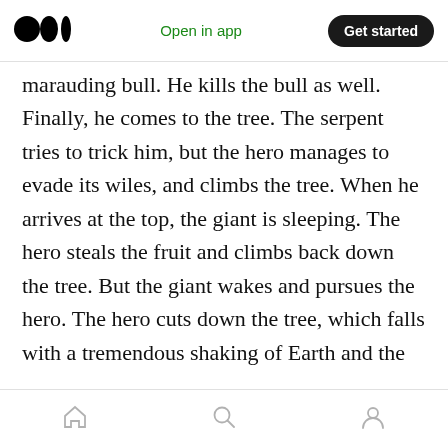Open in app | Get started
marauding bull. He kills the bull as well. Finally, he comes to the tree. The serpent tries to trick him, but the hero manages to evade its wiles, and climbs the tree. When he arrives at the top, the giant is sleeping. The hero steals the fruit and climbs back down the tree. But the giant wakes and pursues the hero. The hero cuts down the tree, which falls with a tremendous shaking of Earth and the sky. The giant dies. The hero takes his place as ruler of Heaven and Earth.
Does the story sound familiar? Likely it does,
Home | Search | Profile